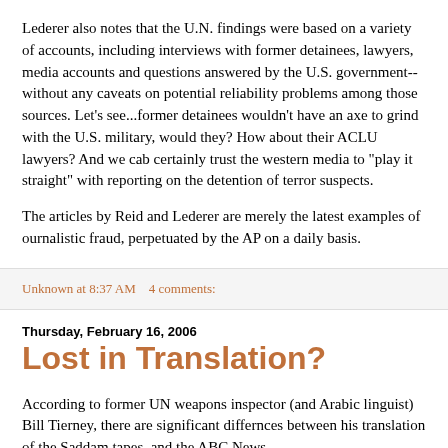Lederer also notes that the U.N. findings were based on a variety of accounts, including interviews with former detainees, lawyers, media accounts and questions answered by the U.S. government--without any caveats on potential reliability problems among those sources. Let's see...former detainees wouldn't have an axe to grind with the U.S. military, would they? How about their ACLU lawyers? And we cab certainly trust the western media to "play it straight" with reporting on the detention of terror suspects.
The articles by Reid and Lederer are merely the latest examples of ournalistic fraud, perpetuated by the AP on a daily basis.
Unknown at 8:37 AM    4 comments:
Thursday, February 16, 2006
Lost in Translation?
According to former UN weapons inspector (and Arabic linguist) Bill Tierney, there are significant differnces between his translation of the Saddam tapes, and the ABC News